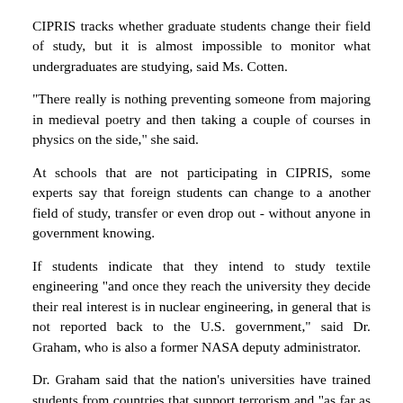CIPRIS tracks whether graduate students change their field of study, but it is almost impossible to monitor what undergraduates are studying, said Ms. Cotten.
"There really is nothing preventing someone from majoring in medieval poetry and then taking a couple of courses in physics on the side," she said.
At schools that are not participating in CIPRIS, some experts say that foreign students can change to a another field of study, transfer or even drop out - without anyone in government knowing.
If students indicate that they intend to study textile engineering "and once they reach the university they decide their real interest is in nuclear engineering, in general that is not reported back to the U.S. government," said Dr. Graham, who is also a former NASA deputy administrator.
Dr. Graham said that the nation's universities have trained students from countries that support terrorism and "as far as I know, no one outside the university knows that they're studying."
In February, Sen. Dianne Feinstein, D-Calif., told a Senate subcommittee on terrorism that between 1991 and 1996, the State Department had issued nearly 18,000 visas to students from Iran...